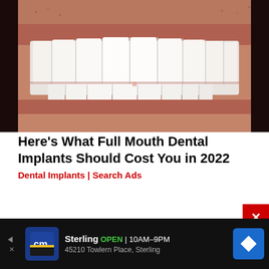[Figure (photo): Close-up photo of a man's smile showing white dental implants/teeth with lips visible, dark background]
Here's What Full Mouth Dental Implants Should Cost You in 2022
Dental Implants | Search Ads
[Figure (other): Advertisement bar: CM logo, Sterling store OPEN 10AM-9PM, 45210 Towlern Place, Sterling, with navigation diamond icon]